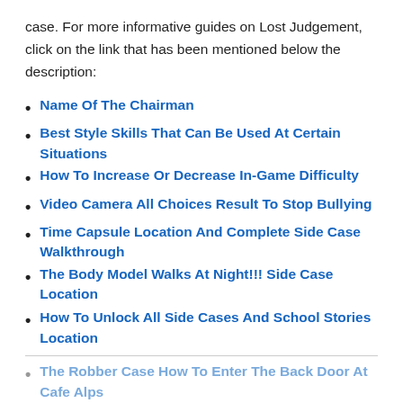case. For more informative guides on Lost Judgement, click on the link that has been mentioned below the description:
Name Of The Chairman
Best Style Skills That Can Be Used At Certain Situations
How To Increase Or Decrease In-Game Difficulty
Video Camera All Choices Result To Stop Bullying
Time Capsule Location And Complete Side Case Walkthrough
The Body Model Walks At Night!!! Side Case Location
How To Unlock All Side Cases And School Stories Location
The Robber Case How To Enter The Back Door At Cafe Alps